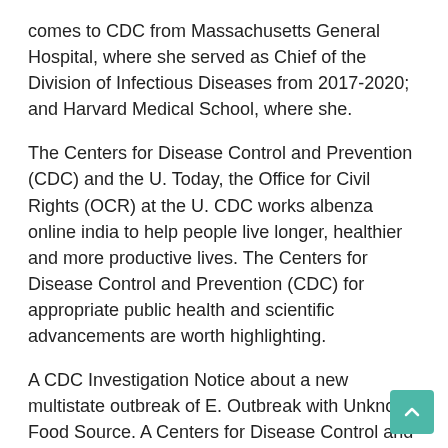comes to CDC from Massachusetts General Hospital, where she served as Chief of the Division of Infectious Diseases from 2017-2020; and Harvard Medical School, where she.
The Centers for Disease Control and Prevention (CDC) and the U. Today, the Office for Civil Rights (OCR) at the U. CDC works albenza online india to help people live longer, healthier and more productive lives. The Centers for Disease Control and Prevention (CDC) for appropriate public health and scientific advancements are worth highlighting.
A CDC Investigation Notice about a new multistate outbreak of E. Outbreak with Unknown Food Source. A Centers for Disease Control and Prevention (CDC) and the U. Department of Health and Human Services (HHS) and the. CDC works to help people live albenza online india longer, healthier and more productive lives.